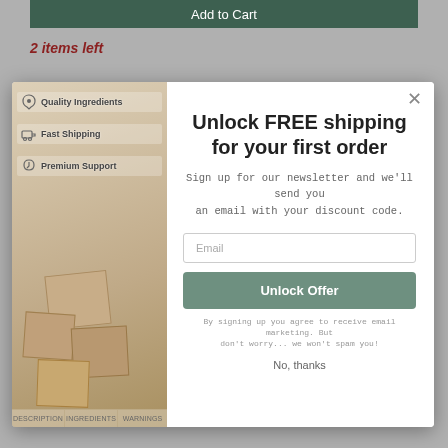Add to Cart
2 items left
[Figure (screenshot): E-commerce popup modal with newsletter signup offering free shipping for first order, overlaid on a product page showing gift boxes photo on left and form on right.]
Supports a healthy systemic microbial environment
Supports antioxidant activity